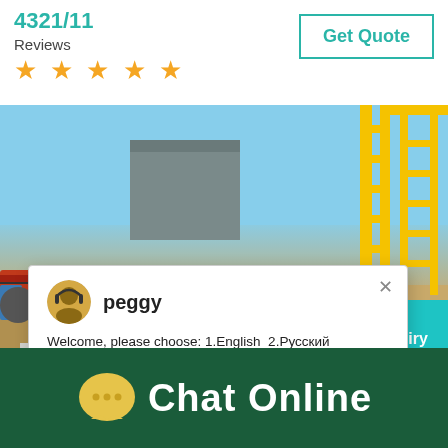4321/11
Reviews
[Figure (other): Five gold star rating icons]
[Figure (other): Get Quote button with teal border]
[Figure (photo): Industrial mining or construction equipment - conveyor belt system with yellow steel framework, blue sky and yellow crane structure in background]
[Figure (screenshot): Live chat popup with agent named peggy. Message: Welcome, please choose: 1.English 2.Русский 3.Français 4.Español 5.bahasa Indonesia 6.عربى. Close button top right.]
Click me to chat >>
Enquiry
[Figure (other): Chat Online button bar at bottom with speech bubble icon on dark green background]